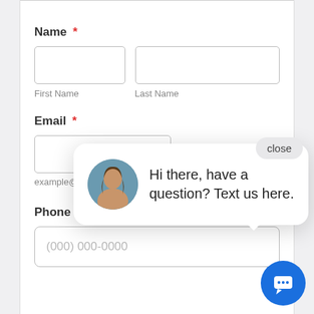Name *
First Name
Last Name
Email *
example@exa
[Figure (screenshot): Chat popup overlay with avatar photo of a woman with brown hair, and text: Hi there, have a question? Text us here. A close button appears top right, and a blue chat icon button bottom right.]
Phone Number *
(000) 000-0000